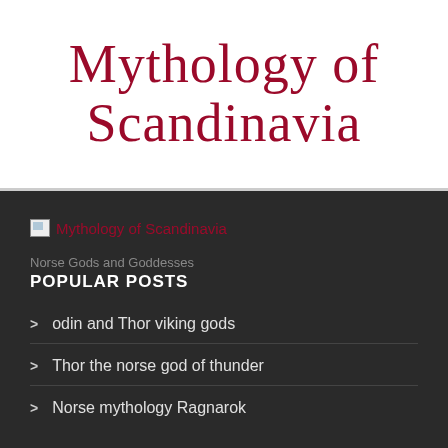Mythology of Scandinavia
[Figure (logo): Broken image icon followed by red link text 'Mythology of Scandinavia']
Norse Gods and Goddesses
POPULAR POSTS
odin and Thor viking gods
Thor the norse god of thunder
Norse mythology Ragnarok